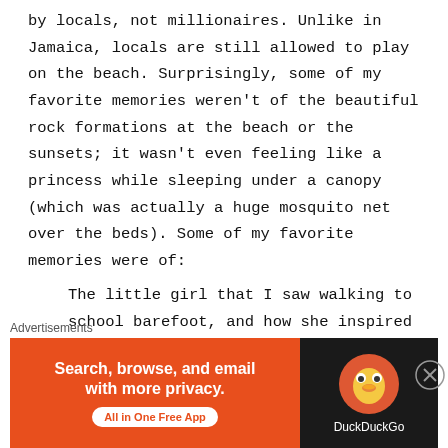by locals, not millionaires. Unlike in Jamaica, locals are still allowed to play on the beach. Surprisingly, some of my favorite memories weren't of the beautiful rock formations at the beach or the sunsets; it wasn't even feeling like a princess while sleeping under a canopy (which was actually a huge mosquito net over the beds). Some of my favorite memories were of:
The little girl that I saw walking to school barefoot, and how she inspired me to feel the sand sweep across the cobblestones as I walked around town for an entire afternoon without my sandals (not caring that I'm overdue for a Tetanus shot).
Advertisements
[Figure (other): DuckDuckGo advertisement banner. Orange left panel reads 'Search, browse, and email with more privacy. All in One Free App'. Dark right panel shows DuckDuckGo logo and name.]